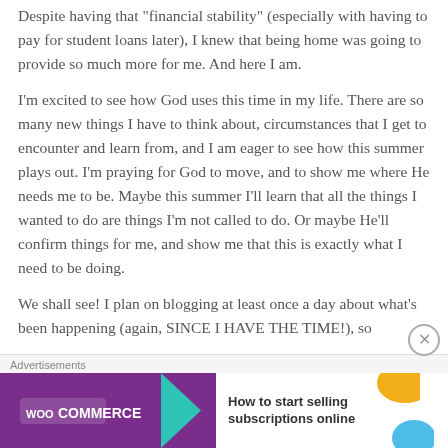Despite having that "financial stability" (especially with having to pay for student loans later), I knew that being home was going to provide so much more for me. And here I am.
I'm excited to see how God uses this time in my life. There are so many new things I have to think about, circumstances that I get to encounter and learn from, and I am eager to see how this summer plays out. I'm praying for God to move, and to show me where He needs me to be. Maybe this summer I'll learn that all the things I wanted to do are things I'm not called to do. Or maybe He'll confirm things for me, and show me that this is exactly what I need to be doing.
We shall see! I plan on blogging at least once a day about what's been happening (again, SINCE I HAVE THE TIME!), so
[Figure (screenshot): WooCommerce advertisement banner with text 'How to start selling subscriptions online']